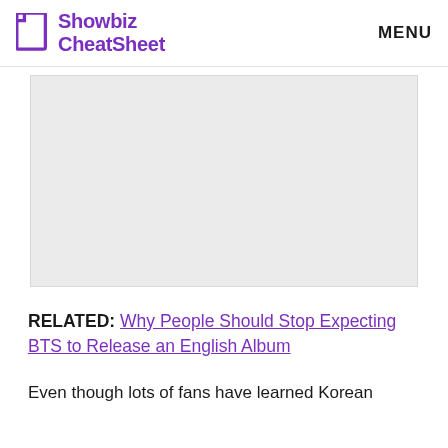Showbiz CheatSheet   MENU
[Figure (other): Advertisement placeholder image, light gray rectangle]
RELATED: Why People Should Stop Expecting BTS to Release an English Album
Even though lots of fans have learned Korean